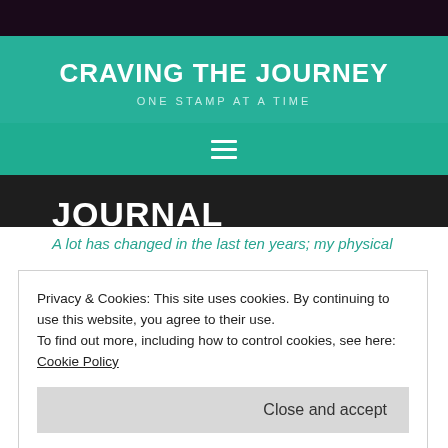CRAVING THE JOURNEY
ONE STAMP AT A TIME
JOURNAL
Privacy & Cookies: This site uses cookies. By continuing to use this website, you agree to their use.
To find out more, including how to control cookies, see here: Cookie Policy
Close and accept
A lot has changed in the last ten years; my physical